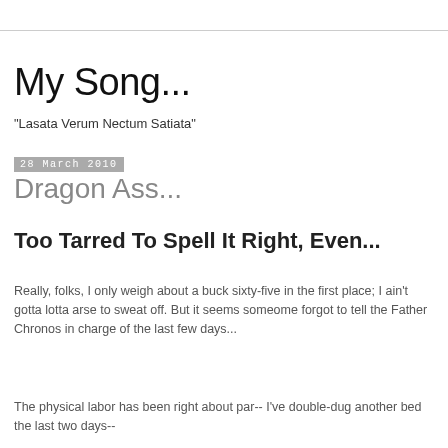My Song...
"Lasata Verum Nectum Satiata"
28 March 2010
Dragon Ass...
Too Tarred To Spell It Right, Even...
Really, folks, I only weigh about a buck sixty-five in the first place; I ain't gotta lotta arse to sweat off. But it seems someome forgot to tell the Father Chronos in charge of the last few days...
The physical labor has been right about par-- I've double-dug another bed the last two days--